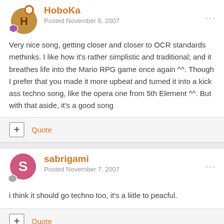HoboKa
Posted November 6, 2007
Very nice song, getting closer and closer to OCR standards methinks. I like how it's rather simplistic and traditional; and it breathes life into the Mario RPG game once again ^^. Though I prefer that you made it more upbeat and turned it into a kick ass techno song, like the opera one from 5th Element ^^. But with that aside, it's a good song
Quote
sabrigami
Posted November 7, 2007
i think it should go techno too, it's a liitle to peacful.
Quote